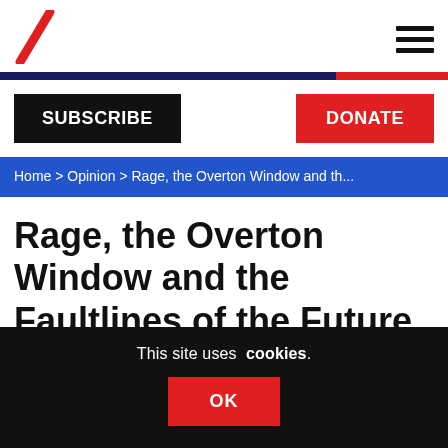The American Conservative — logo and navigation
SUBSCRIBE
DONATE
Home > Opinion > Rage, the Overton Window and th...
Rage, the Overton Window and the Faultlines of the Future
This site uses cookies. OK